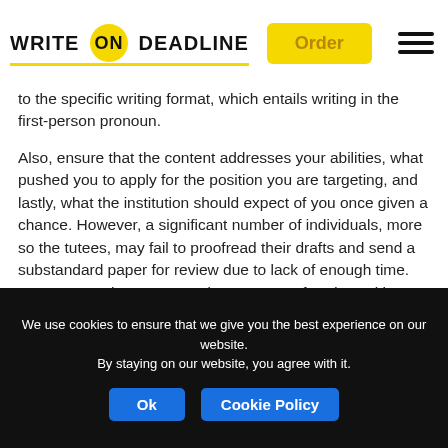WRITE ON DEADLINE | Order
to the specific writing format, which entails writing in the first-person pronoun.
Also, ensure that the content addresses your abilities, what pushed you to apply for the position you are targeting, and lastly, what the institution should expect of you once given a chance. However, a significant number of individuals, more so the tutees, may fail to proofread their drafts and send a substandard paper for review due to lack of enough time. However, we have top-rated resume proofreaders with extensive expertise to assist you in producing a draft that conforms to the standards required and adheres to all the writing elements that constitute a great CV worth acceptance.
We use cookies to ensure that we give you the best experience on our website. By staying on our website, you agree with it. Ok Cookie Policy